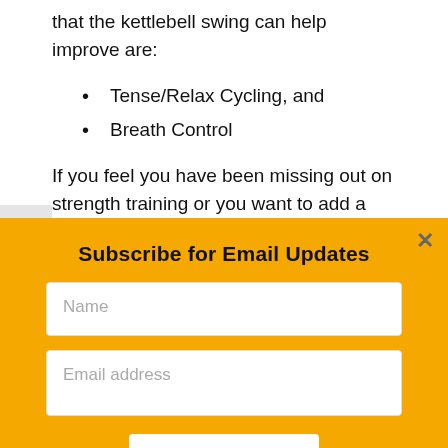that the kettlebell swing can help improve are:
Tense/Relax Cycling, and
Breath Control
If you feel you have been missing out on strength training or you want to add a different form of cardiovascular endurance training to
Subscribe for Email Updates
Name
Email address
SUBMIT